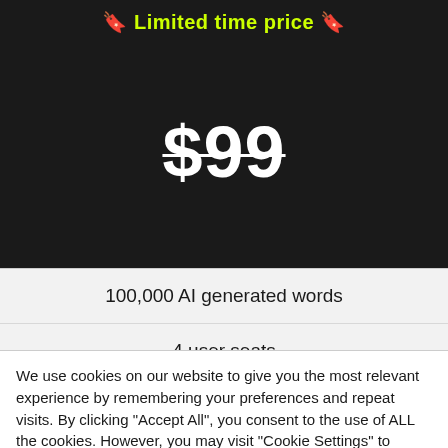🔖 Limited time price 🔖
$99
100,000 AI generated words
4 user seats
Unlimited Projects
We use cookies on our website to give you the most relevant experience by remembering your preferences and repeat visits. By clicking "Accept All", you consent to the use of ALL the cookies. However, you may visit "Cookie Settings" to provide a controlled consent.
Cookie Settings | Accept All